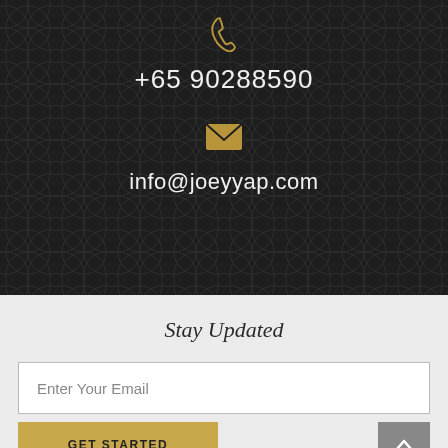[Figure (illustration): Phone icon in gold color on dark patterned background]
+65 90288590
[Figure (illustration): Email envelope icon in gold color on dark patterned background]
info@joeyyap.com
Stay Updated
Enter Your Email
GET STARTED